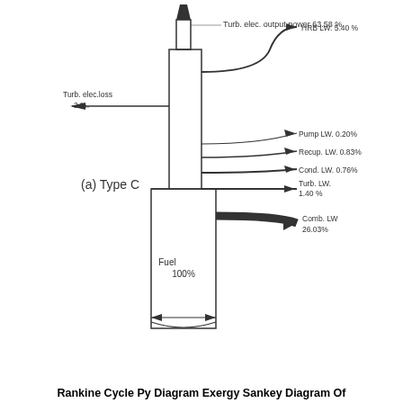[Figure (schematic): Sankey diagram for Rankine Cycle Py Diagram Exergy - Type C. A vertical main flow column (Fuel 100%) rises from the bottom. The column narrows at top where Turb. elec. output power 63.58% exits upward. A branch to the left labeled Turb. elec. loss 2% exits. HRB LW. 5.40% exits curved upward to the right. Several curved flow branches exit to the right: Pump LW. 0.20%, Recup. LW. 0.83%, Cond. LW. 0.76%, Turb. LW. 1.40%, and Comb. LW 26.03%. Label (a) Type C on left side.]
Rankine Cycle Py Diagram Exergy Sankey Diagram Of